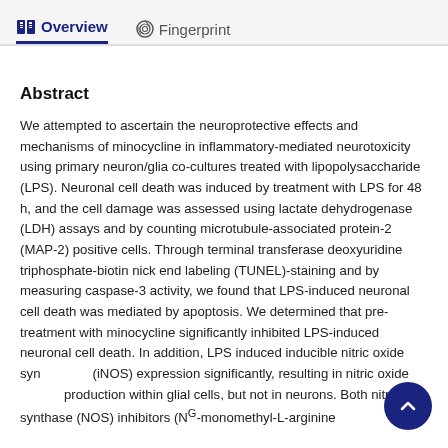Overview   Fingerprint
Abstract
We attempted to ascertain the neuroprotective effects and mechanisms of minocycline in inflammatory-mediated neurotoxicity using primary neuron/glia co-cultures treated with lipopolysaccharide (LPS). Neuronal cell death was induced by treatment with LPS for 48 h, and the cell damage was assessed using lactate dehydrogenase (LDH) assays and by counting microtubule-associated protein-2 (MAP-2) positive cells. Through terminal transferase deoxyuridine triphosphate-biotin nick end labeling (TUNEL)-staining and by measuring caspase-3 activity, we found that LPS-induced neuronal cell death was mediated by apoptosis. We determined that pre-treatment with minocycline significantly inhibited LPS-induced neuronal cell death. In addition, LPS induced inducible nitric oxide synthase (iNOS) expression significantly, resulting in nitric oxide production within glial cells, but not in neurons. Both nitric oxide synthase (NOS) inhibitors (Nᴳ-monomethyl-L-arginine